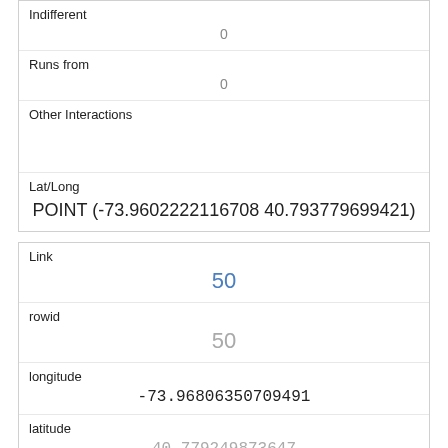| Indifferent | 0 |
| Runs from | 0 |
| Other Interactions |  |
| Lat/Long | POINT (-73.9602222116708 40.793779699421) |
| Link | 50 |
| rowid | 50 |
| longitude | -73.96806350709491 |
| latitude | 40.779249873647 |
| Unique Squirrel ID | 17E-AM-1017-05 |
| Hectare | 17E |